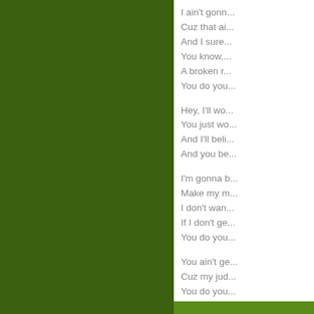[Figure (other): Dark olive/forest green background covering the left portion of the page]
I ain't gonn...
Cuz that ai...
And I sure...
You know,...
A broken r...
You do you...

Hey, I'll wo...
You just wo...
And I'll beli...
And you be...

I'm gonna b...
Make my m...
I don't wan...
If I don't ge...
You do you...

You ain't ge...
Cuz my jud...
You do you...
Nov 19, 2004 10:42:...